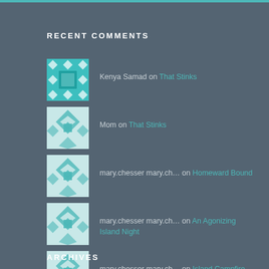RECENT COMMENTS
Kenya Samad on That Stinks
Mom on That Stinks
mary.chesser mary.ch... on Homeward Bound
mary.chesser mary.ch... on An Agonizing Island Night
mary.chesser mary.ch... on Island Campfire
ARCHIVES